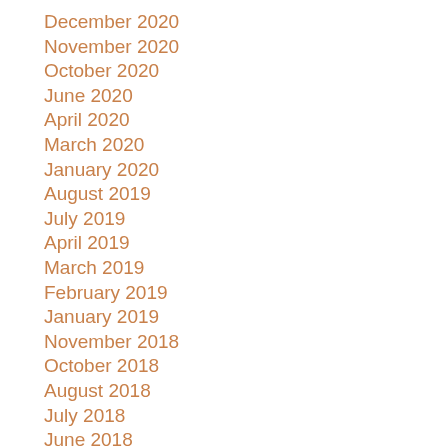December 2020
November 2020
October 2020
June 2020
April 2020
March 2020
January 2020
August 2019
July 2019
April 2019
March 2019
February 2019
January 2019
November 2018
October 2018
August 2018
July 2018
June 2018
May 2018
February 2018
November 2017